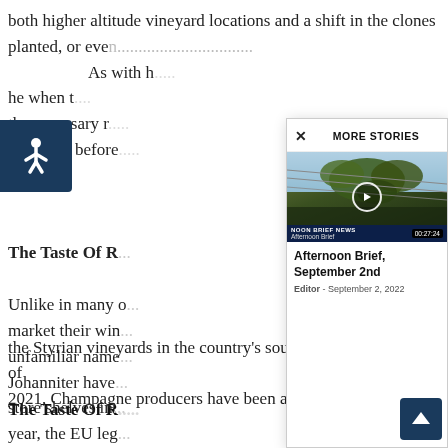both higher altitude vineyard locations and a shift in the clones planted, or even...
As with ... ne when the necessary r... take time before...
The Taste Of R...
Unlike in many ... market their win... unfamiliar name... Johanniter have... store shelves in... year, the EU leg... throughout thes... of vines are hyb... and Die mit lacinia, with a significant focus on the Styrian vineyards in the country's south. And since August of 2021, Champagne producers have been allowed to plant their
[Figure (screenshot): More Stories modal overlay showing a video thumbnail of grape vines with play button, titled 'Afternoon Brief, September 2nd', duration 00:27:24, Editor - September 2, 2022]
[Figure (illustration): Accessibility wheelchair icon button in dark navy blue]